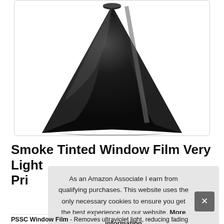[Figure (photo): Product photo of black smoke tinted window film roll, shown unrolled in a fan/cone shape on white background, revealing glossy dark tinted film surface with reflective highlights]
Smoke Tinted Window Film Very Light Pri
As an Amazon Associate I earn from qualifying purchases. This website uses the only necessary cookies to ensure you get the best experience on our website. More information
PSSC Window Film - Removes ultraviolet light, reducing fading